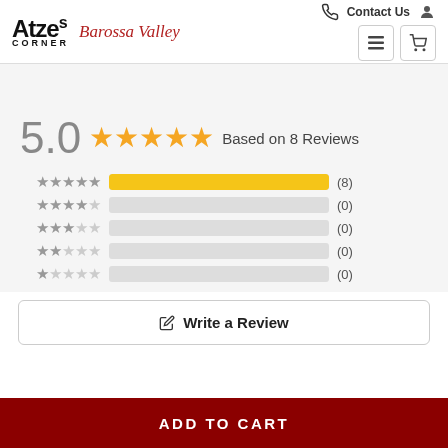Atzes Corner Barossa Valley — Contact Us
[Figure (other): Review rating summary: 5.0 stars based on 8 reviews. Bar chart showing 5-star=8, 4-star=0, 3-star=0, 2-star=0, 1-star=0 reviews.]
Write a Review
ADD TO CART